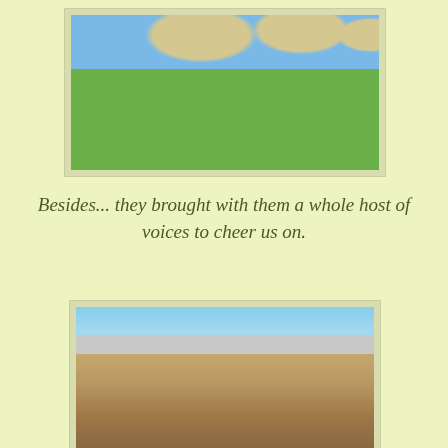[Figure (photo): Group of people sitting in chairs under large patio umbrellas on a green lawn, including adults and children, on a sunny day.]
Besides... they brought with them a whole host of voices to cheer us on.
[Figure (photo): Three people working outdoors on a patio or landscaping project, walking on a partially constructed patio surface with bricks and materials visible on a sunny day.]